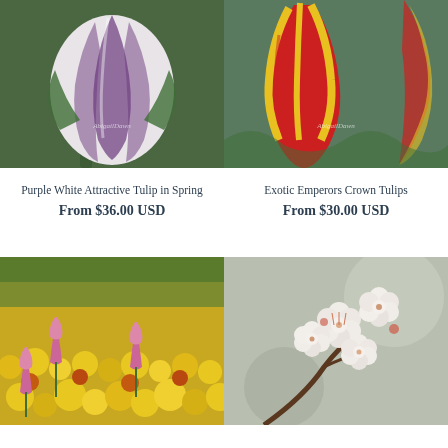[Figure (photo): Close-up of a purple and white striped tulip against a green background]
Purple White Attractive Tulip in Spring
From $36.00 USD
[Figure (photo): Close-up of exotic red and yellow Emperor's Crown tulips]
Exotic Emperors Crown Tulips
From $30.00 USD
[Figure (photo): Field of colorful spring flowers including yellow, orange, and pink blooms with tulips]
[Figure (photo): Close-up of white cherry blossom flowers on a branch]